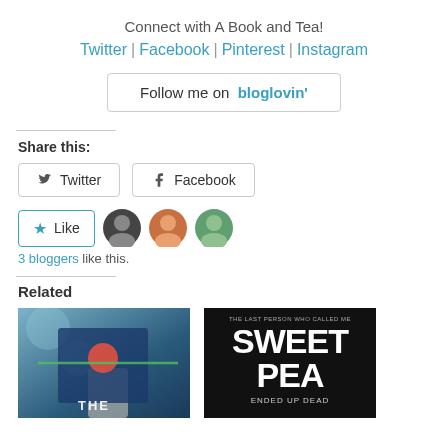Connect with A Book and Tea!
Twitter | Facebook | Pinterest | Instagram
[Figure (other): Follow me on bloglovin' button]
Share this:
[Figure (other): Twitter share button]
[Figure (other): Facebook share button]
[Figure (other): Like button with 3 blogger avatars]
3 bloggers like this.
Related
[Figure (photo): Book cover image - dark blue book being held]
[Figure (photo): Book cover - Sweet Pea Ended Up Dead on black background]